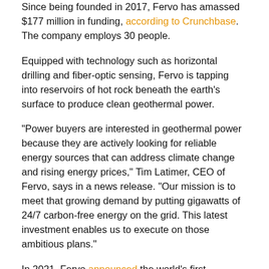Since being founded in 2017, Fervo has amassed $177 million in funding, according to Crunchbase. The company employs 30 people.
Equipped with technology such as horizontal drilling and fiber-optic sensing, Fervo is tapping into reservoirs of hot rock beneath the earth's surface to produce clean geothermal power.
“Power buyers are interested in geothermal power because they are actively looking for reliable energy sources that can address climate change and rising energy prices,” Tim Latimer, CEO of Fervo, says in a news release. “Our mission is to meet that growing demand by putting gigawatts of 24/7 carbon-free energy on the grid. This latest investment enables us to execute on those ambitious plans.”
In 2021, Fervo announced the world’s first corporate